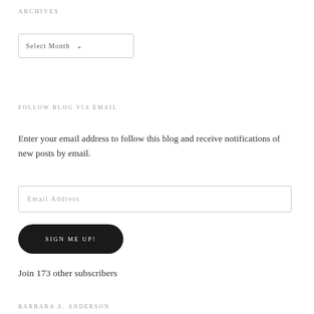ARCHIVES
[Figure (screenshot): A dropdown/select UI element labeled 'Select Month' with a downward chevron arrow, inside a bordered box.]
FOLLOW BLOG VIA EMAIL
Enter your email address to follow this blog and receive notifications of new posts by email.
[Figure (screenshot): An email address input field with placeholder text 'Email Address' in a light bordered rectangle.]
[Figure (screenshot): A dark rounded button labeled 'SIGN ME UP!']
Join 173 other subscribers
BARBARA A. ANDERSON